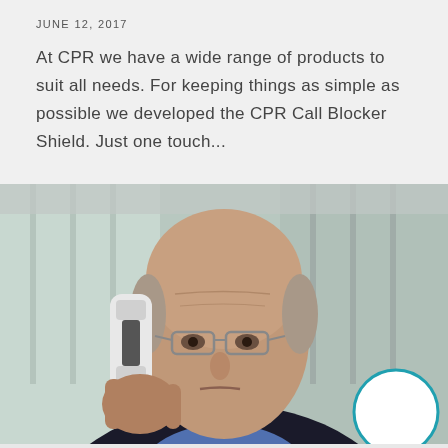JUNE 12, 2017
At CPR we have a wide range of products to suit all needs. For keeping things as simple as possible we developed the CPR Call Blocker Shield. Just one touch...
[Figure (photo): Elderly man holding a telephone handset to his ear, wearing glasses and a dark jacket, with a blurred indoor background.]